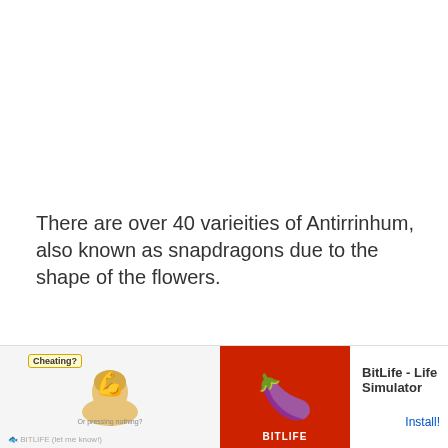There are over 40 varieities of Antirrinhum, also known as snapdragons due to the shape of the flowers.
Because they are Mediterranean natives, they flourish in full sun. Very easy to care for, they are the perfect choice for a summer garden as they will flower for the who... give...
[Figure (other): Mobile advertisement banner for BitLife - Life Simulator app. Shows 'Ad' label, 'Cheating?' badge with muscle emoji illustration on left, red background with sperm icon for BitLife branding in center, and 'BitLife - Life Simulator' text with 'Install!' button on right.]